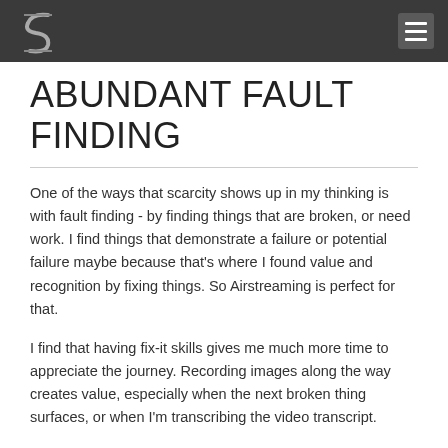ABUNDANT FAULT FINDING
ABUNDANT FAULT FINDING
One of the ways that scarcity shows up in my thinking is with fault finding - by finding things that are broken, or need work. I find things that demonstrate a failure or potential failure maybe because that's where I found value and recognition by fixing things. So Airstreaming is perfect for that.
I find that having fix-it skills gives me much more time to appreciate the journey. Recording images along the way creates value, especially when the next broken thing surfaces, or when I'm transcribing the video transcript.